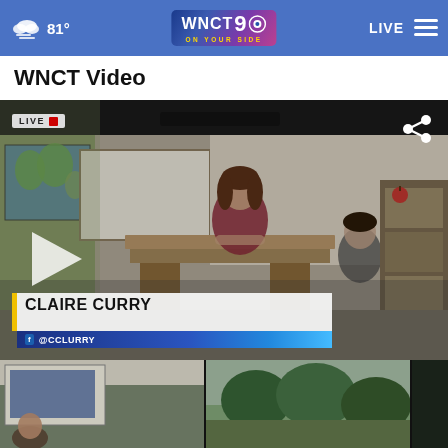81° WNCT 9 ON YOUR SIDE | LIVE
WNCT Video
[Figure (screenshot): Video player thumbnail showing a classroom scene with a woman sitting at a desk. LIVE badge in top-left. Share icon in top-right. Play button overlay. Lower-third graphic shows 'CLAIRE CURRY' and '@CCLURRY' social handle.]
[Figure (screenshot): Thumbnail of a classroom scene, partial view at bottom-left]
[Figure (screenshot): Thumbnail showing outdoor trees scene, partial view at bottom-center]
[Figure (screenshot): Thumbnail, dark/partial view at bottom-right]